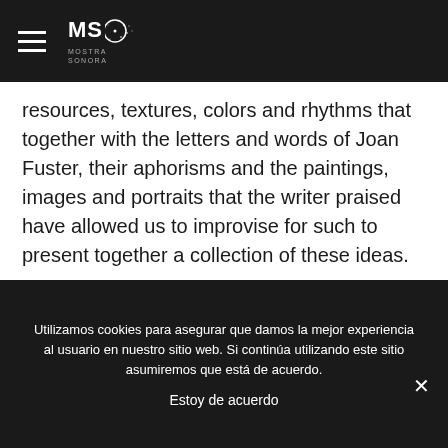MS MOSTRA SONORA
resources, textures, colors and rhythms that together with the letters and words of Joan Fuster, their aphorisms and the paintings, images and portraits that the writer praised have allowed us to improvise for such to present together a collection of these ideas.
Utilizamos cookies para asegurar que damos la mejor experiencia al usuario en nuestro sitio web. Si continúa utilizando este sitio asumiremos que está de acuerdo.
Estoy de acuerdo